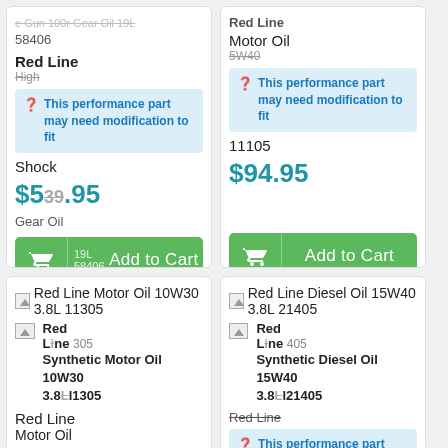Red Line
58406
This performance part may need modification to fit
Shock
$539.95
Gear Oil
19L
58406
Add to Cart
Red Line
Motor Oil
5W40
This performance part may need modification to fit
11105
$94.95
Add to Cart
Red Line Motor Oil 10W30 3.8L 11305
Red Line
11305
Synthetic Motor Oil 10W30
3.8L 11305
Red Line
Motor Oil
Red Line Diesel Oil 15W40 3.8L 21405
Red Line
21405
Synthetic Diesel Oil 15W40
3.8L 21405
Red Line
This performance part may need modification to fit